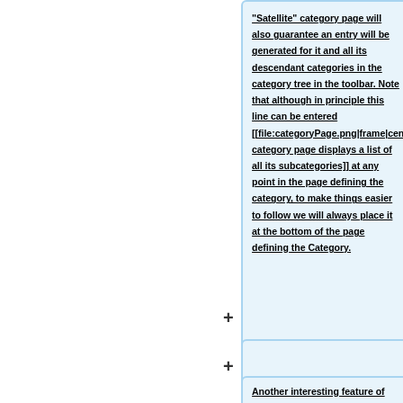"Satellite" category page will also guarantee an entry will be generated for it and all its descendant categories in the category tree in the toolbar. Note that although in principle this line can be entered [[file:categoryPage.png|frame|center|A category page displays a list of all its subcategories]] at any point in the page defining the category, to make things easier to follow we will always place it at the bottom of the page defining the Category.
Another interesting feature of using the category tree